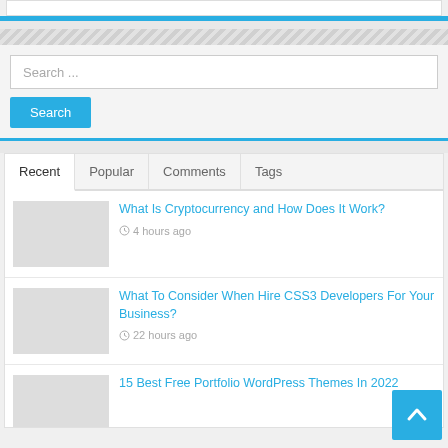[Figure (screenshot): Top partial white input/form bar at top of page]
Search ...
Search
Recent
Popular
Comments
Tags
What Is Cryptocurrency and How Does It Work?
4 hours ago
What To Consider When Hire CSS3 Developers For Your Business?
22 hours ago
15 Best Free Portfolio WordPress Themes In 2022